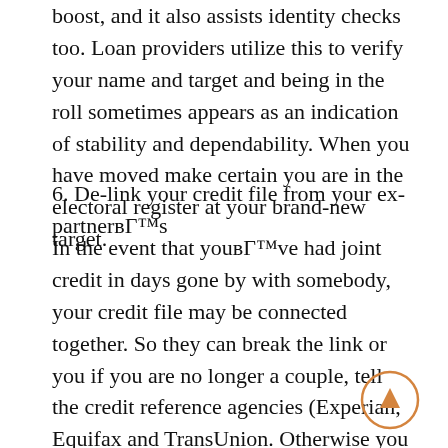boost, and it also assists identity checks too. Loan providers utilize this to verify your name and target and being in the roll sometimes appears as an indication of stability and dependability. When you have moved make certain you are in the electoral register at your brand-new target.
6. De-link your credit file from your ex-partnerвЂ™s
In the event that youвЂ™ve had joint credit in days gone by with somebody, your credit file may be connected together. So they can break the link or you if you are no longer a couple, tell the credit reference agencies (Experian, Equifax and TransUnion. Otherwise you may find your ex-partnerвЂ™s financial situation could influence your capability to have credit as time goes by.